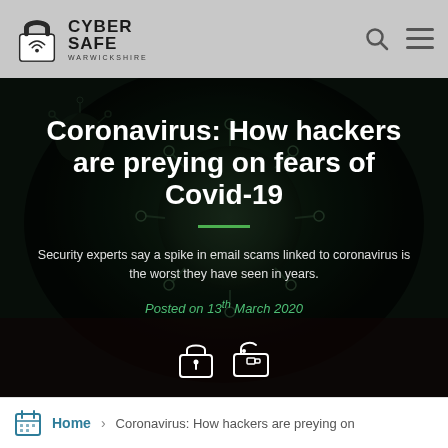CYBER SAFE WARWICKSHIRE
[Figure (photo): Dark background hero image showing coronavirus particles under microscope with dark green/teal tones]
Coronavirus: How hackers are preying on fears of Covid-19
Security experts say a spike in email scams linked to coronavirus is the worst they have seen in years.
Posted on 13th March 2020
Home > Coronavirus: How hackers are preying on